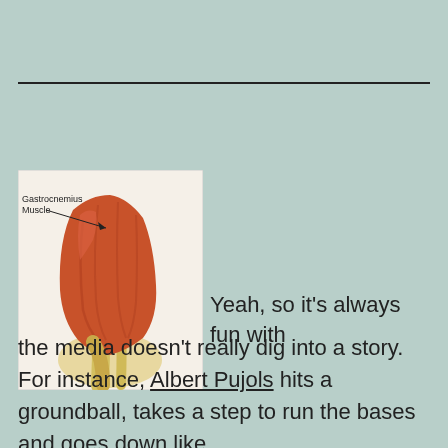[Figure (illustration): Anatomical illustration of the gastrocnemius muscle of the lower leg, labeled with 'Gastrocnemius Muscle' and an arrow pointing to the muscle. The image shows the red muscle tissue and underlying structures of the calf.]
Yeah, so it’s always fun with the media doesn’t really dig into a story. For instance, Albert Pujols hits a groundball, takes a step to run the bases and goes down like